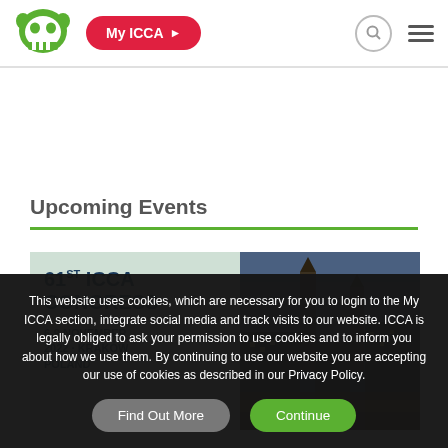[Figure (logo): ICCA green skull-like logo]
My ICCA ▶
Upcoming Events
[Figure (photo): 61st ICCA Congress, 6-9 November 2022 · Kraków, Poland — event banner with city photo]
This website uses cookies, which are necessary for you to login to the My ICCA section, integrate social media and track visits to our website. ICCA is legally obliged to ask your permission to use cookies and to inform you about how we use them. By continuing to use our website you are accepting our use of cookies as described in our Privacy Policy.
Find Out More
Continue